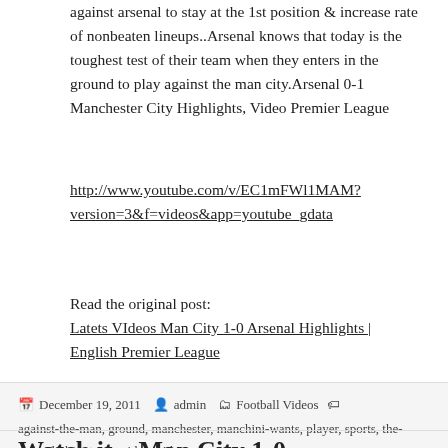against arsenal to stay at the 1st position & increase rate of nonbeaten lineups..Arsenal knows that today is the toughest test of their team when they enters in the ground to play against the man city.Arsenal 0-1 Manchester City Highlights, Video Premier League
http://www.youtube.com/v/EC1mFWl1MAM?version=3&f=videos&app=youtube_gdata
Read the original post:
Latets VIdeos Man City 1-0 Arsenal Highlights | English Premier League
December 19, 2011   admin   Football Videos   against-the-man, ground, manchester, manchini-wants, player, sports, the-ground, their-team, video, video-premier
Watch it... Man City 1-0